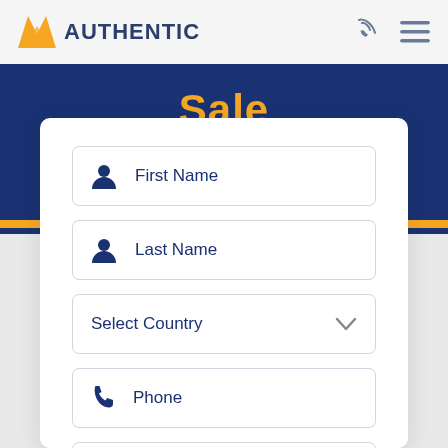AUTHENTIC
Sale
First Name
Last Name
Select Country
Phone
Email